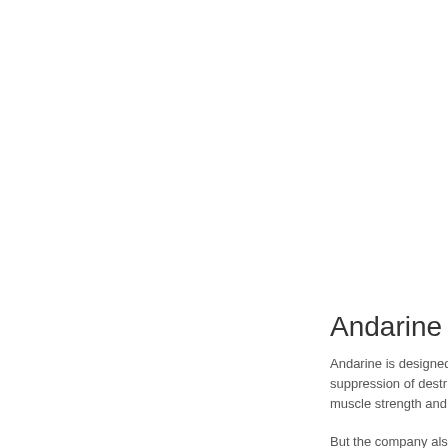Andarine ma
Andarine is designed suppression of destr muscle strength and
But the company als